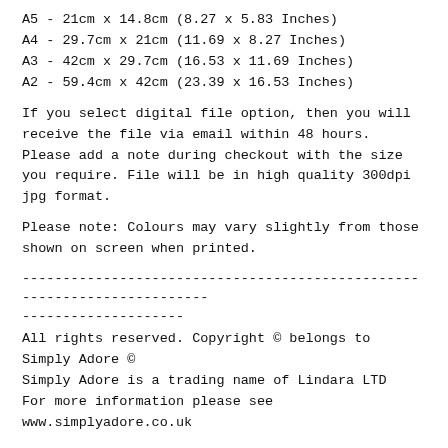A5 - 21cm x 14.8cm (8.27 x 5.83 Inches)
A4 - 29.7cm x 21cm (11.69 x 8.27 Inches)
A3 - 42cm x 29.7cm (16.53 x 11.69 Inches)
A2 - 59.4cm x 42cm (23.39 x 16.53 Inches)
If you select digital file option, then you will receive the file via email within 48 hours. Please add a note during checkout with the size you require. File will be in high quality 300dpi jpg format.
Please note: Colours may vary slightly from those shown on screen when printed.
------------------------------------------------------------------------
--------------------
All rights reserved. Copyright © belongs to Simply Adore ©
Simply Adore is a trading name of Lindara LTD
For more information please see
www.simplyadore.co.uk